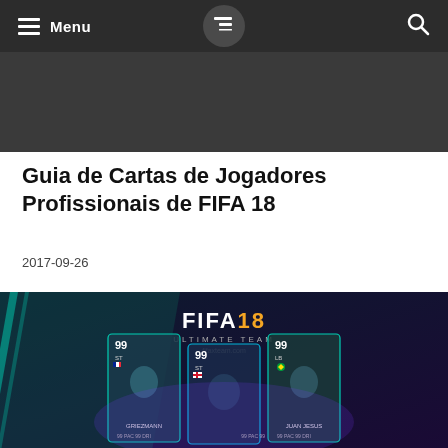Menu | [Logo] | [Search]
[Figure (other): Dark banner/advertisement area below navigation]
Guia de Cartas de Jogadores Profissionais de FIFA 18
2017-09-26
[Figure (photo): FIFA 18 Ultimate Team promotional image showing three player cards: Griezmann (99), an unnamed striker (99 ST), and Juan Jesus (99 LB), with FIFA 18 Ultimate Team logo and fifaxteam.com watermark]